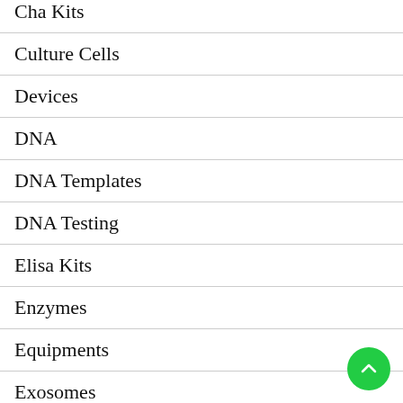Cha Kits
Culture Cells
Devices
DNA
DNA Templates
DNA Testing
Elisa Kits
Enzymes
Equipments
Exosomes
Gel…